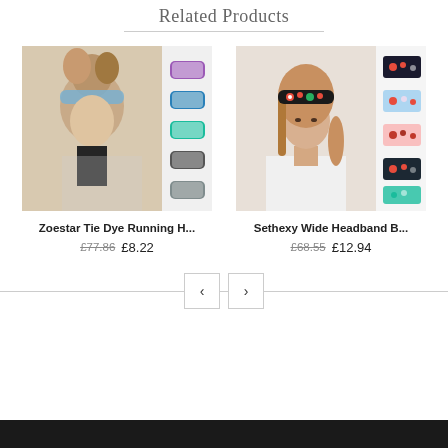Related Products
[Figure (photo): Woman wearing blue tie-dye headband with multiple colorful headband options shown beside her]
Zoestar Tie Dye Running H...
£77.86  £8.22
[Figure (photo): Woman wearing floral twist headband with multiple floral headband options shown beside her]
Sethexy Wide Headband B...
£68.55  £12.94